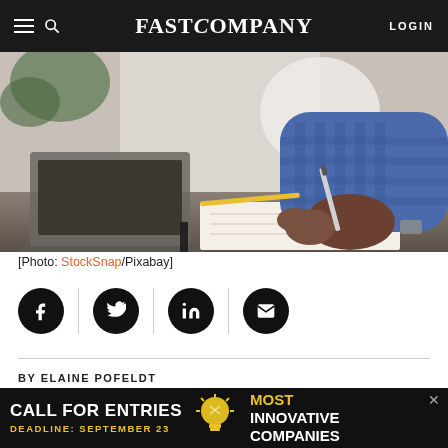FAST COMPANY
[Figure (photo): Person in blue checkered shirt writing in notebook at desk with laptop, photographed from behind and side at close range]
[Photo: StockSnap/Pixabay]
[Figure (infographic): Social sharing buttons row: Facebook, Twitter, LinkedIn, Email icons in black circles with gray dividers]
BY ELAINE POFELDT
3 MINUTE READ
[Figure (infographic): Advertisement banner: CALL FOR ENTRIES – DEADLINE: SEPTEMBER 23 – Most Innovative Companies]